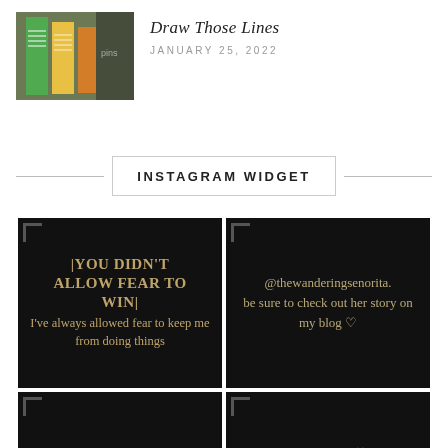[Figure (photo): Thumbnail image of colorful sticky note tabs/flags on papers]
Draw Those Lines
JANUARY 25, 2022
INSTAGRAM WIDGET
[Figure (screenshot): Instagram widget grid cell 1: Dark background with gold text '|YOU DIDN'T ALLOW FEAR TO WIN| I've always allowed fear to keep me from doing things']
[Figure (screenshot): Instagram widget grid cell 2: Dark background with light text '@thewanderingsenorita. be sure to check out her story on my blog ♡']
[Figure (screenshot): Instagram widget grid cell 3: Dark background with gold text '|MEET THE WANDERING...']
[Figure (screenshot): Instagram widget grid cell 4: Dark background with light text 'Link in bio ♡']